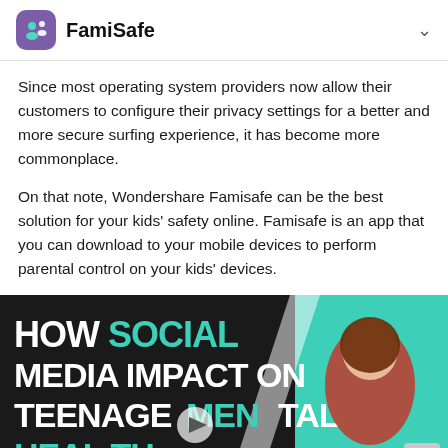FamiSafe
Since most operating system providers now allow their customers to configure their privacy settings for a better and more secure surfing experience, it has become more commonplace.
On that note, Wondershare Famisafe can be the best solution for your kids' safety online. Famisafe is an app that you can download to your mobile devices to perform parental control on your kids' devices.
[Figure (screenshot): Video thumbnail with text 'HOW SOCIAL MEDIA IMPACT ON TEENAGE MENTAL HEALTH' in white and teal on dark background, with a woman on the right side and a play button overlay. Purple and teal background.]